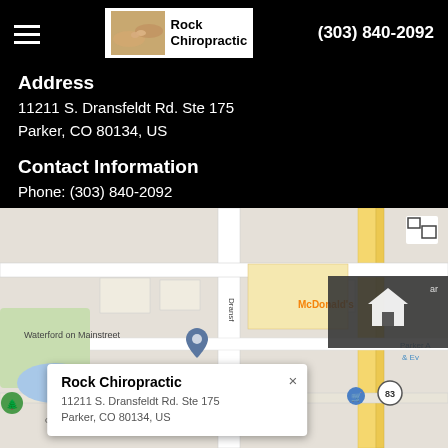Rock Chiropractic  (303) 840-2092
Address
11211 S. Dransfeldt Rd. Ste 175
Parker, CO 80134, US
Contact Information
Phone:  (303) 840-2092
Email:  frontdesk@rockchiropractic.com
[Figure (map): Google Maps screenshot showing Rock Chiropractic location at 11211 S. Dransfeldt Rd. Ste 175, Parker, CO 80134, US. Map shows surrounding area including Waterford on Mainstreet, McDonald's, Cherry Creek Trail, and Parker road (Hwy 83). Info box shows business name and address.]